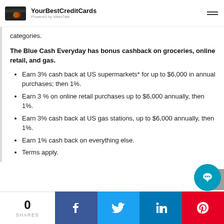YourBestCreditCards — Powered by MilesTalk
categories.
The Blue Cash Everyday has bonus cashback on groceries, online retail, and gas.
Earn 3% cash back at US supermarkets* for up to $6,000 in annual purchases; then 1%.
Earn 3 % on online retail purchases up to $6,000 annually, then 1%.
Earn 3% cash back at US gas stations, up to $6,000 annually, then 1%.
Earn 1% cash back on everything else.
Terms apply.